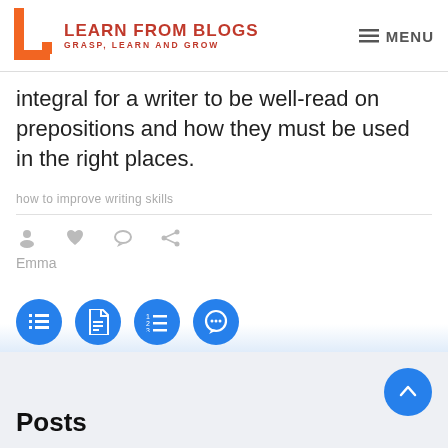LEARN FROM BLOGS — GRASP, LEARN AND GROW | MENU
integral for a writer to be well-read on prepositions and how they must be used in the right places.
how to improve writing skills
Emma
[Figure (infographic): Four blue circular icon buttons: list/menu icon, document icon, numbered list icon, speech bubble icon]
Posts